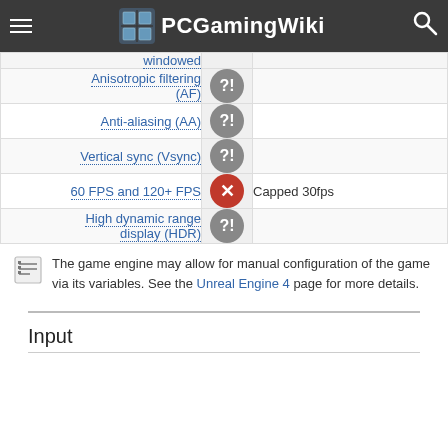PCGamingWiki
| Feature | Status | Notes |
| --- | --- | --- |
| windowed | ?! |  |
| Anisotropic filtering (AF) | ?! |  |
| Anti-aliasing (AA) | ?! |  |
| Vertical sync (Vsync) | ?! |  |
| 60 FPS and 120+ FPS | No | Capped 30fps |
| High dynamic range display (HDR) | ?! |  |
The game engine may allow for manual configuration of the game via its variables. See the Unreal Engine 4 page for more details.
Input